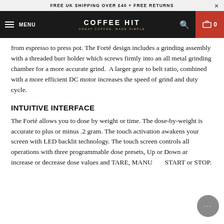FREE UK SHIPPING OVER £40 + FREE RETURNS
[Figure (screenshot): Coffee Hit website navigation bar with hamburger menu, logo, search icon, and cart showing 0 items]
from espresso to press pot. The Forté design includes a grinding assembly with a threaded burr holder which screws firmly into an all metal grinding chamber for a more accurate grind.  A larger gear to belt ratio, combined with a more efficient DC motor increases the speed of grind and duty cycle.
INTUITIVE INTERFACE
The Forté allows you to dose by weight or time. The dose-by-weight is accurate to plus or minus .2 gram. The touch activation awakens your screen with LED backlit technology. The touch screen controls all operations with three programmable dose presets, Up or Down arrows increase or decrease dose values and TARE, MANUAL, START or STOP.